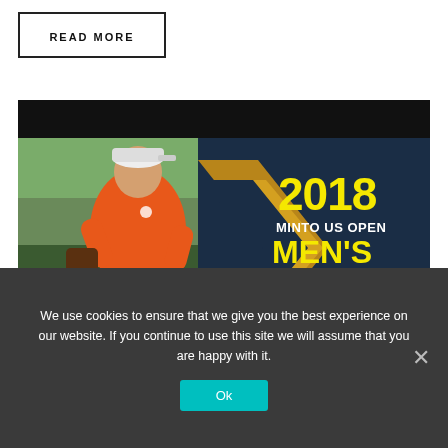READ MORE
[Figure (photo): Sports photo of a man in an orange shirt playing pickleball outdoors, overlaid with text '2018 MINTO US OPEN MEN'S DOUBLES 25+ GOLD' on a dark blue background with gold chevron graphic]
We use cookies to ensure that we give you the best experience on our website. If you continue to use this site we will assume that you are happy with it.
Ok